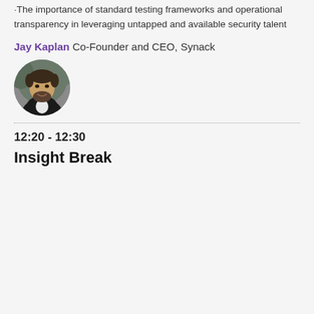·The importance of standard testing frameworks and operational transparency in leveraging untapped and available security talent
Jay Kaplan Co-Founder and CEO, Synack
[Figure (photo): Circular headshot photo of Jay Kaplan, a man in a dark suit with a beard, smiling]
12:20 - 12:30
Insight Break